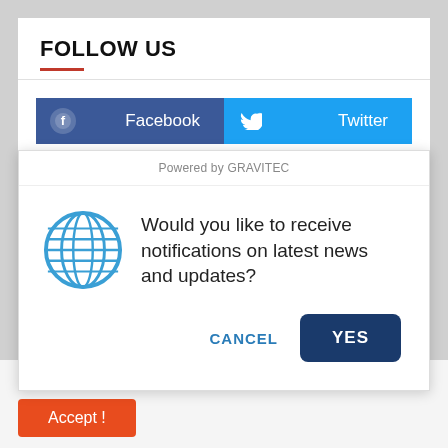FOLLOW US
[Figure (screenshot): Social media follow buttons: Facebook (blue) and Twitter (cyan) side by side]
[Figure (screenshot): Browser notification popup: globe icon with text 'Would you like to receive notifications on latest news and updates?' and CANCEL / YES buttons. Powered by GRAVITEC header.]
Please Help Planet Today DOTATE HERE
Our website uses cookies to improve your experience. Learn more
Accept !